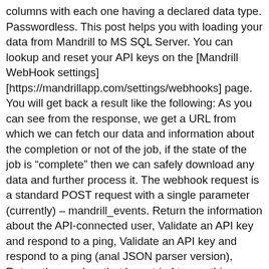columns with each one having a declared data type. Passwordless. This post helps you with loading your data from Mandrill to MS SQL Server. You can lookup and reset your API keys on the [Mandrill WebHook settings][https://mandrillapp.com/settings/webhooks] page. You will get back a result like the following: As you can see from the response, we get a URL from which we can fetch our data and information about the completion or not of the job, if the state of the job is "complete" then we can safely download any data and further process it. The webhook request is a standard POST request with a single parameter (currently) – mandrill_events. Return the information about the API-connected user, Validate an API key and respond to a ping, Validate an API key and respond to a ping (anal JSON parser version), Return the senders that have tried to use this account, both verified and unverified. As changing the data types in the future is a process that might cost in downtime of your database, it is important to spend enough time thinking about the proper data type assignments. So far we just scraped the surface of what you can do with MS SQL Server and how to load data into it. The data is tl